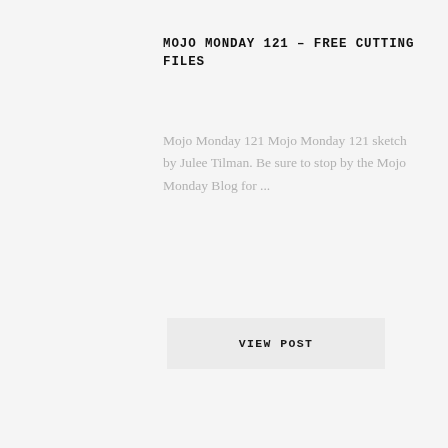MOJO MONDAY 121 – FREE CUTTING FILES
Mojo Monday 121 Mojo Monday 121 sketch by Julee Tilman. Be sure to stop by the Mojo Monday Blog for ...
VIEW POST
LASTEST ON INSTAGRAM
ARCHIVES
Select Month